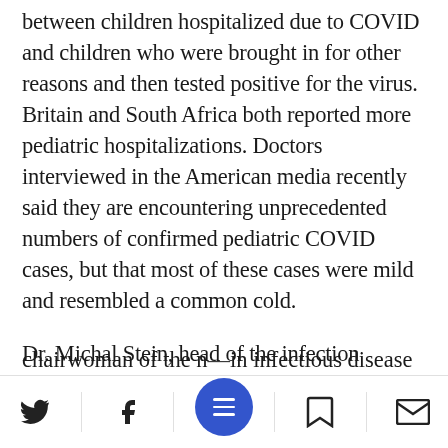between children hospitalized due to COVID and children who were brought in for other reasons and then tested positive for the virus. Britain and South Africa both reported more pediatric hospitalizations. Doctors interviewed in the American media recently said they are encountering unprecedented numbers of confirmed pediatric COVID cases, but that most of these cases were mild and resembled a common cold.
Dr. Michal Stein, head of the infection diseases unit at Hillel Yaffe Medical Center and chairwoman of the n... in infectious disease
[Figure (other): Mobile navigation footer bar with Twitter, Facebook, hamburger menu (blue circle), bookmark, and email icons]